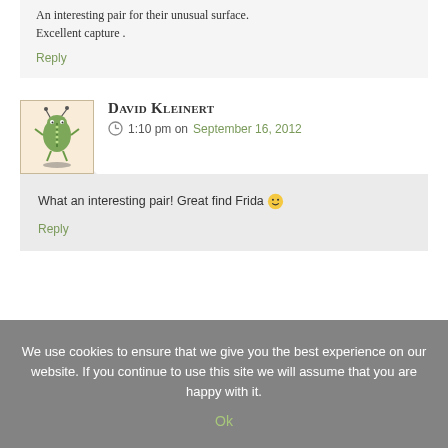An interesting pair for their unusual surface.
Excellent capture .
Reply
[Figure (illustration): Cartoon avatar of a green alien-bug creature with antennae, standing on a shadow, in a pink-toned box with border]
David Kleinert
1:10 pm on September 16, 2012
What an interesting pair! Great find Frida 🙂
Reply
We use cookies to ensure that we give you the best experience on our website. If you continue to use this site we will assume that you are happy with it.
Ok